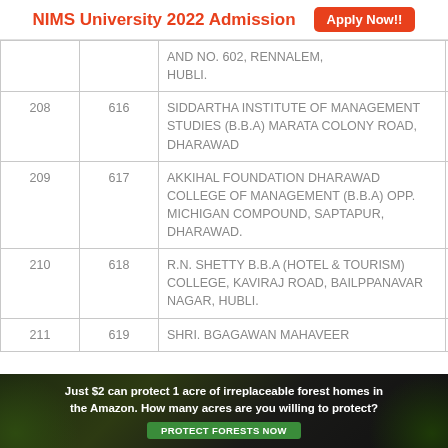NIMS University 2022 Admission  Apply Now!!
|  |  | Name/Address |  |
| --- | --- | --- | --- |
|  |  | AND NO. 602, RENNALEM, HUBLI. | D |
| 208 | 616 | SIDDARTHA INSTITUTE OF MANAGEMENT STUDIES (B.B.A) MARATA COLONY ROAD, DHARAWAD | D |
| 209 | 617 | AKKIHAL FOUNDATION DHARAWAD COLLEGE OF MANAGEMENT (B.B.A) OPP. MICHIGAN COMPOUND, SAPTAPUR, DHARAWAD. | D |
| 210 | 618 | R.N. SHETTY B.B.A (HOTEL & TOURISM) COLLEGE, KAVIRAJ ROAD, BAILPPANAVAR NAGAR, HUBLI. | D |
| 211 | 619 | SHRI. BGAGAWAN MAHAVEER | D |
[Figure (infographic): Advertisement banner: Just $2 can protect 1 acre of irreplaceable forest homes in the Amazon. How many acres are you willing to protect? PROTECT FORESTS NOW]